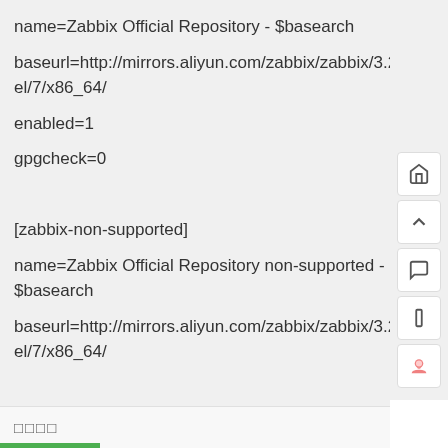name=Zabbix Official Repository - $basearch

baseurl=http://mirrors.aliyun.com/zabbix/zabbix/3.2/rhel/7/x86_64/

enabled=1

gpgcheck=0

[zabbix-non-supported]

name=Zabbix Official Repository non-supported - $basearch

baseurl=http://mirrors.aliyun.com/zabbix/zabbix/3.2/rhel/7/x86_64/
□□□□